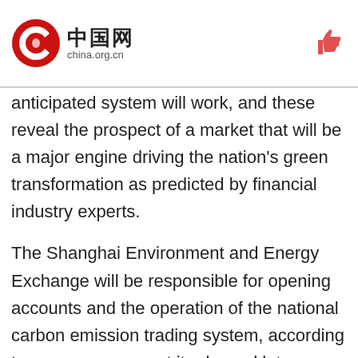中国网 china.org.cn
anticipated system will work, and these reveal the prospect of a market that will be a major engine driving the nation's green transformation as predicted by financial industry experts.
The Shanghai Environment and Energy Exchange will be responsible for opening accounts and the operation of the national carbon emission trading system, according to an announcement it released late on Tuesday night.
Tian Lihui, director of the Institute of Finance and Development at Nankai University in Tianjin, said that the carbon trading system will become an